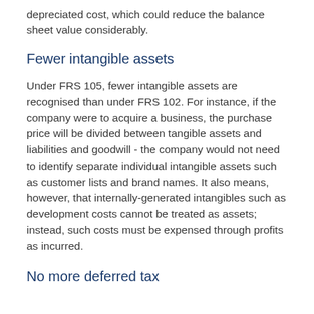depreciated cost, which could reduce the balance sheet value considerably.
Fewer intangible assets
Under FRS 105, fewer intangible assets are recognised than under FRS 102. For instance, if the company were to acquire a business, the purchase price will be divided between tangible assets and liabilities and goodwill - the company would not need to identify separate individual intangible assets such as customer lists and brand names. It also means, however, that internally-generated intangibles such as development costs cannot be treated as assets; instead, such costs must be expensed through profits as incurred.
No more deferred tax